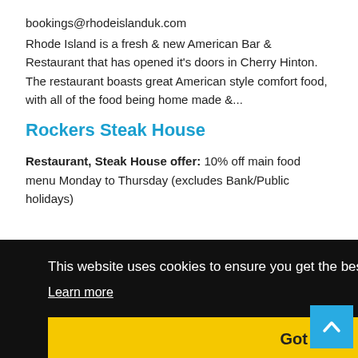bookings@rhodeislanduk.com
Rhode Island is a fresh & new American Bar & Restaurant that has opened it's doors in Cherry Hinton. The restaurant boasts great American style comfort food, with all of the food being home made &...
Rockers Steak House
Restaurant, Steak House offer: 10% off main food menu Monday to Thursday (excludes Bank/Public holidays)
in
, which
wings
[Figure (other): Cookie consent banner overlay with black background. Text reads: 'This website uses cookies to ensure you get the best experience on our website.' With a 'Learn more' underlined link and a yellow 'Got it!' button.]
bookings for NHS staff. Enter 'NHS10' in the 'Voucher' section of